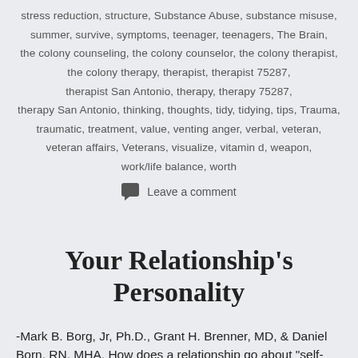stress reduction, structure, Substance Abuse, substance misuse, summer, survive, symptoms, teenager, teenagers, The Brain, the colony counseling, the colony counselor, the colony therapist, the colony therapy, therapist, therapist 75287, therapist San Antonio, therapy, therapy 75287, therapy San Antonio, thinking, thoughts, tidy, tidying, tips, Trauma, traumatic, treatment, value, venting anger, verbal, veteran, veteran affairs, Veterans, visualize, vitamin d, weapon, work/life balance, worth
Leave a comment
Your Relationship's Personality
-Mark B. Borg, Jr, Ph.D., Grant H. Brenner, MD, & Daniel Born, RN, MHA. How does a relationship go about "self-